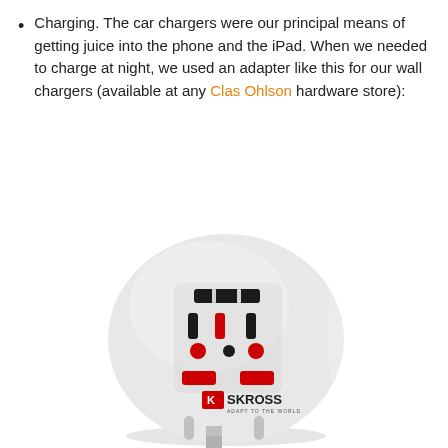Charging. The car chargers were our principal means of getting juice into the phone and the iPad. When we needed to charge at night, we used an adapter like this for our wall chargers (available at any Clas Ohlson hardware store):
[Figure (photo): A white SKROSS universal travel adapter plug with multiple socket types on the face and a European-style two-pin plug at the bottom. The SKROSS brand logo with 'ADAPT TO THE WORLD' text is visible on the front.]